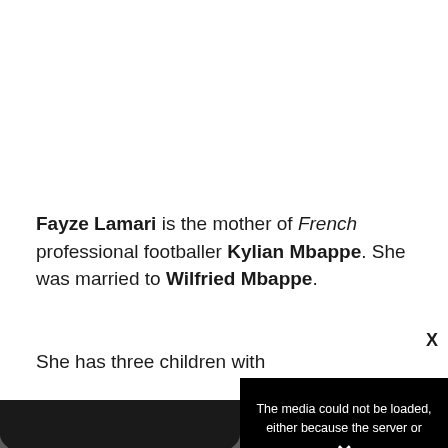Fayze Lamari is the mother of French professional footballer Kylian Mbappe. She was married to Wilfried Mbappe.
She has three children w[ith her ex-husband, a] handball player by profe[ssion]
[Figure (photo): Partial view of a person's head (top/hair) with skin visible at bottom, partially obscured by a media error overlay]
The media could not be loaded, either because the server or network failed or because the format is not supported.